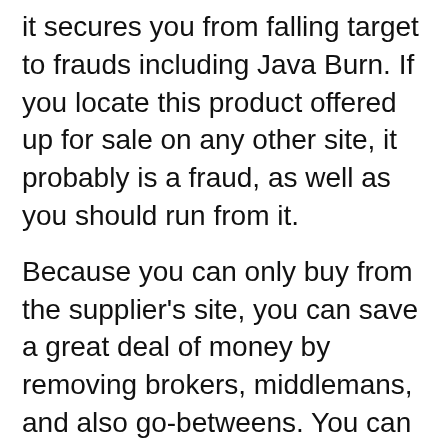it secures you from falling target to frauds including Java Burn. If you locate this product offered up for sale on any other site, it probably is a fraud, as well as you should run from it.
Because you can only buy from the supplier's site, you can save a great deal of money by removing brokers, middlemans, and also go-betweens. You can likewise ensure obtaining the genuine offer when acquiring Java Burn directly from the producer. It is readily available in 3 unique plans– the 30, 90, and 180-day supply. Here is a breakdown of the rates:.
30-day (1 pouch) supply– $49 + shipping.
90-day (3 pouches) supply– $102 + delivery.